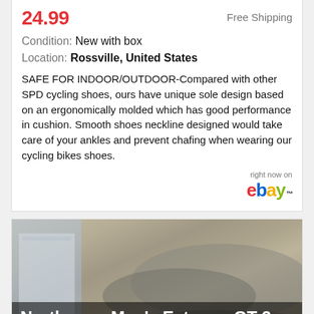24.99  Free Shipping
Condition: New with box
Location: Rossville, United States
SAFE FOR INDOOR/OUTDOOR-Compared with other SPD cycling shoes, ours have unique sole design based on an ergonomically molded which has good performance in cushion. Smooth shoes neckline designed would take care of your ankles and prevent chafing when wearing our cycling bikes shoes.
[Figure (logo): eBay logo with 'right now on' text above]
[Figure (photo): Photo of Northwave Men's Extreme GT 3 Boa Road Cycling Shoes size 44, grey shoes next to box on outdoor surface]
Northwave Men's Extreme GT 3 Boa Road Cycling Shoes - 44